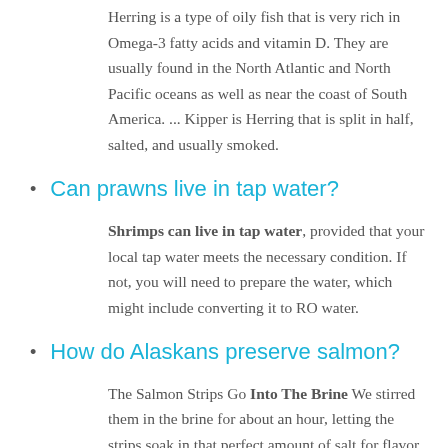Herring is a type of oily fish that is very rich in Omega-3 fatty acids and vitamin D. They are usually found in the North Atlantic and North Pacific oceans as well as near the coast of South America. ... Kipper is Herring that is split in half, salted, and usually smoked.
Can prawns live in tap water?
Shrimps can live in tap water, provided that your local tap water meets the necessary condition. If not, you will need to prepare the water, which might include converting it to RO water.
How do Alaskans preserve salmon?
The Salmon Strips Go Into The Brine We stirred them in the brine for about an hour, letting the strips soak in that perfect amount of salt for flavor and preservation. We brine the salmon for an hour, before tying with